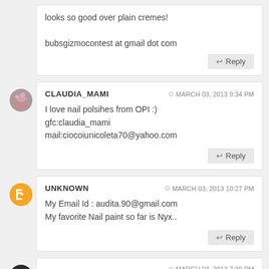looks so good over plain cremes!

bubsgizmocontest at gmail dot com
Reply
CLAUDIA_MAMI — MARCH 03, 2013 9:34 PM
I love nail polsihes from OPI :)
gfc:claudia_mami
mail:ciocoiunicoleta70@yahoo.com
Reply
UNKNOWN — MARCH 03, 2013 10:27 PM
My Email Id : audita.90@gmail.com
My favorite Nail paint so far is Nyx..
Reply
MARCH 04, 2013 7:39 PM